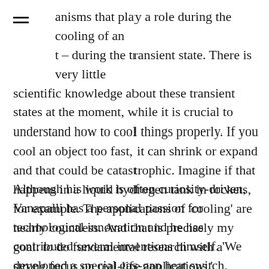anisms that play a role during the cooling of an t – during the transient state. There is very little scientific knowledge about these transient states at the moment, while it is crucial to understand how to cool things properly. If you cool an object too fast, it can shrink or expand and that could be catastrophic. Imagine if that happens in a liquid hydrogen tank in rockets, for example. The applications of 'cooling' are nearly countless. And that is precisely my goal: to do fundamental research with a strong focus on real-life applications.'
Although his work is often curiosity-driven, Vanapalli has a personal passion for technological innovation and he has contributed several inventions himself. 'We developed a special gas-gap heat switch, which allows us to control heat flow when cooling an object. It is like a dimmer for a light lamp, in a way. This principle of heat switch is also applied in a tissue snap freezer. The snap freezer is able to